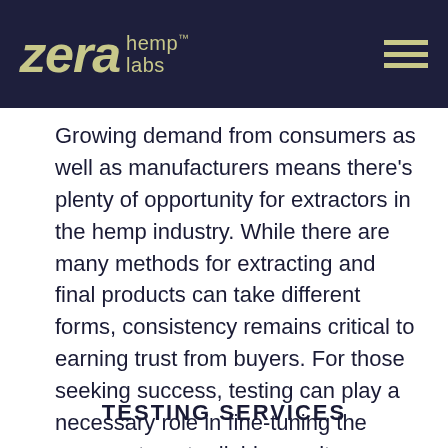zera hemp™ labs
Growing demand from consumers as well as manufacturers means there's plenty of opportunity for extractors in the hemp industry. While there are many methods for extracting and final products can take different forms, consistency remains critical to earning trust from buyers. For those seeking success, testing can play a necessary role in fine-tuning the process to get reliable results.
TESTING SERVICES